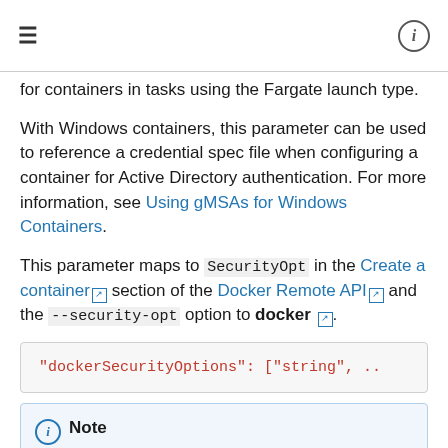≡  ℹ
for containers in tasks using the Fargate launch type.
With Windows containers, this parameter can be used to reference a credential spec file when configuring a container for Active Directory authentication. For more information, see Using gMSAs for Windows Containers.
This parameter maps to SecurityOpt in the Create a container section of the Docker Remote API and the --security-opt option to docker.
"dockerSecurityOptions": ["string", ..
Note